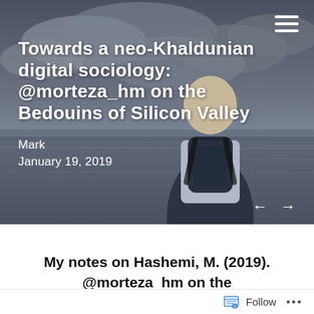[Figure (photo): A bald man seen from behind, wearing a shirt and a backpack, looking out over a waterway under a dramatic cloudy sky. The image serves as the hero background of a blog post.]
Towards a neo-Khaldunian digital sociology: @morteza_hm on the Bedouins of Silicon Valley
Mark
January 19, 2019
My notes on Hashemi, M. (2019).